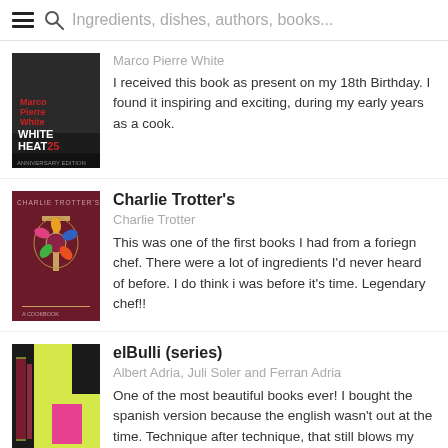Ingredients, dishes, authors, books...
[Figure (photo): Book cover: White Heat 25 by Marco Pierre White — dark monochrome photo]
Marco Pierre White
I received this book as present on my 18th Birthday. I found it inspiring and exciting, during my early years as a cook.
[Figure (photo): Book cover: Charlie Trotter's — dark red/maroon cover with gold T emblem]
Charlie Trotter's
Charlie Trotter
This was one of the first books I had from a foriegn chef. There were a lot of ingredients I'd never heard of before. I do think i was before it's time. Legendary chef!!
[Figure (photo): Book cover: elBulli (series) — bright yellow/lime box set with dark spine and pink/magenta element]
elBulli (series)
Albert Adria, Juli Soler and Ferran Adria
One of the most beautiful books ever! I bought the spanish version because the english wasn't out at the time. Technique after technique, that still blows my mind.